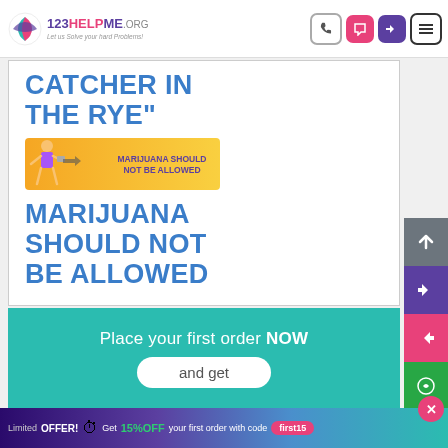[Figure (logo): 123HelpMe.org logo with colorful swirl icon and tagline 'Let us Solve your hard Problems!']
CATCHER IN THE RYE"
[Figure (illustration): Banner image: yellow background with person holding megaphone, text 'MARIJUANA SHOULD NOT BE ALLOWED']
MARIJUANA SHOULD NOT BE ALLOWED
Place your first order NOW
and get
Limited OFFER! Get 15%OFF your first order with code first15